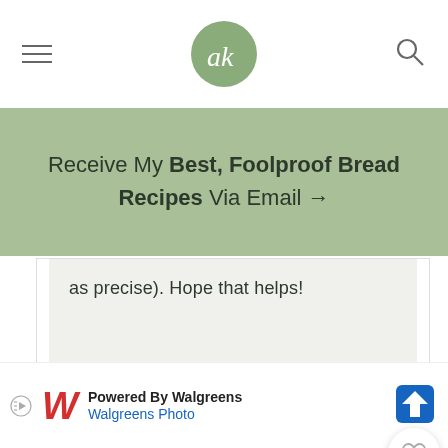ak (logo)
Receive My Best, Foolproof Bread Recipes Via Email →
as precise). Hope that helps!
OLIVIA – JULY 30, 2015 @ 10:07 AM  REPLY  1,775
I tried this cake in Italy and fell in love with it at first bite. Immediately I search for a recipe online and came across yours and I must say it is AMAZING. My whole family agreed that it is
[Figure (other): Powered By Walgreens / Walgreens Photo advertisement banner with Walgreens W logo and blue navigation arrow icon]